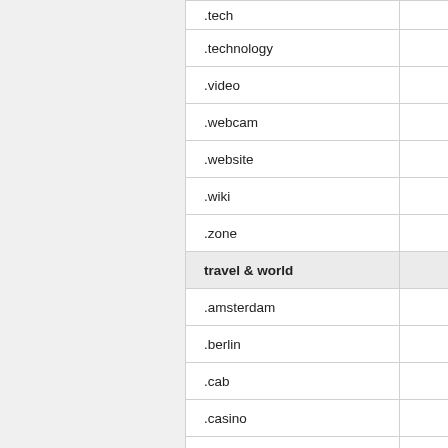| Domain |  |
| --- | --- |
| .tech |  |
| .technology |  |
| .video |  |
| .webcam |  |
| .website |  |
| .wiki |  |
| .zone |  |
| travel & world |  |
| .amsterdam |  |
| .berlin |  |
| .cab |  |
| .casino |  |
| .country |  |
| .cruises |  |
| .cymru |  |